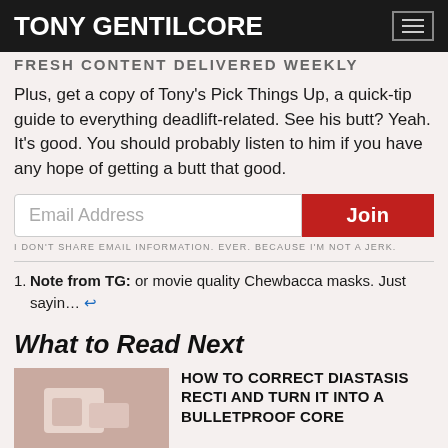TONY GENTILCORE
FRESH CONTENT DELIVERED WEEKLY
Plus, get a copy of Tony's Pick Things Up, a quick-tip guide to everything deadlift-related. See his butt? Yeah. It's good. You should probably listen to him if you have any hope of getting a butt that good.
Email Address [input] Join [button]
I DON'T SHARE EMAIL INFORMATION. EVER. BECAUSE I'M NOT A JERK.
Note from TG: or movie quality Chewbacca masks. Just sayin… ↩
What to Read Next
HOW TO CORRECT DIASTASIS RECTI AND TURN IT INTO A BULLETPROOF CORE